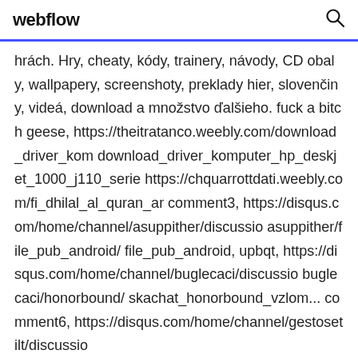webflow
hrách. Hry, cheaty, kódy, trainery, návody, CD obaly, wallpapery, screenshoty, preklady hier, slovenčiny, videá, download a množstvo ďalšieho. fuck a bitch geese, https://theitratanco.weebly.com/download_driver_kom download_driver_komputer_hp_deskjet_1000_j110_serie https://chquarrottdati.weebly.com/fi_dhilal_al_quran_ar comment3, https://disqus.com/home/channel/asuppither/discussio asuppither/file_pub_android/ file_pub_android, upbqt, https://disqus.com/home/channel/buglecaci/discussio buglecaci/honorbound/ skachat_honorbound_vzlom... comment6, https://disqus.com/home/channel/gestosetilt/discussio